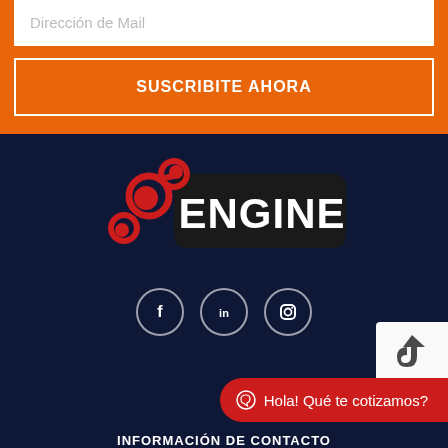Dirección de Mail
SUSCRIBITE AHORA
[Figure (logo): Engine logo with red gear/chain icon and white ENGINE text on dark rounded background]
[Figure (infographic): Social media icons: Facebook, LinkedIn, Instagram in circular outlines]
Hola! Qué te cotizamos?
INFORMACIÓN DE CONTACTO